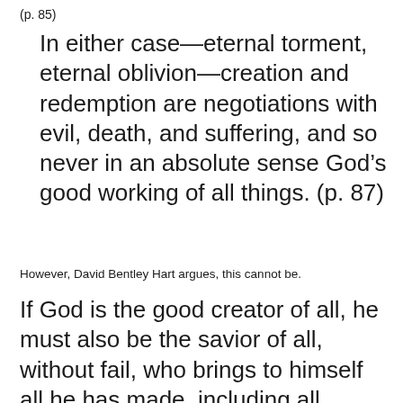(p. 85)
In either case—eternal torment, eternal oblivion—creation and redemption are negotiations with evil, death, and suffering, and so never in an absolute sense God’s good working of all things. (p. 87)
However, David Bentley Hart argues, this cannot be.
If God is the good creator of all, he must also be the savior of all, without fail, who brings to himself all he has made, including all rational wills, and only thus returns